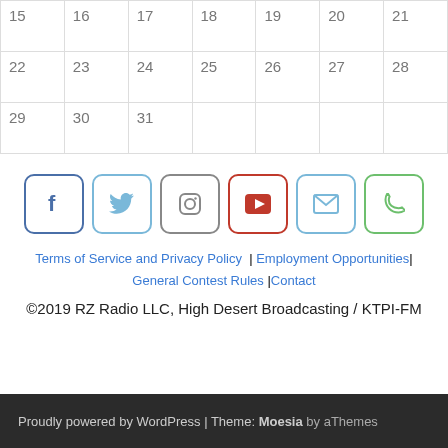| 15 | 16 | 17 | 18 | 19 | 20 | 21 |
| 22 | 23 | 24 | 25 | 26 | 27 | 28 |
| 29 | 30 | 31 |  |  |  |  |
[Figure (other): Social media icon buttons: Facebook, Twitter, Instagram, YouTube, Email, Phone]
Terms of Service and Privacy Policy  | Employment Opportunities| General Contest Rules |Contact
©2019 RZ Radio LLC, High Desert Broadcasting / KTPI-FM
Proudly powered by WordPress | Theme: Moesia by aThemes